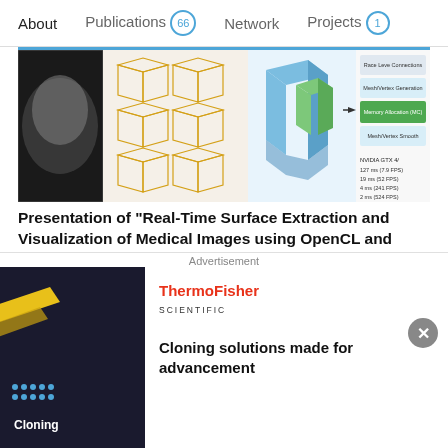About  Publications 66  Network  Projects 1
[Figure (screenshot): Thumbnail image showing medical imaging pipeline with CT scan, 3D mesh wireframes, colored 3D blocks, method comparison table, and NVIDIA GPU benchmark timings (127ms 7.9FPS, 19ms 52FPS, 4ms 241FPS, 2ms 524FPS)]
Presentation of "Real-Time Surface Extraction and Visualization of Medical Images using OpenCL and GPUs"
Data  Full-text available
Oct 2014
Erik Smistad · Anne C. Elster · Frank Lindseth
View
Presentation of "GPU-Based Airway Segmentation and Centerline Extraction for Image Guided Bronchoscopy"
Advertisement
[Figure (photo): Advertisement: ThermoFisher Scientific - Cloning solutions made for advancement. Dark blue background with yellow diagonal stripes and 'Cloning' text on the left side.]
Cloning solutions made for advancement